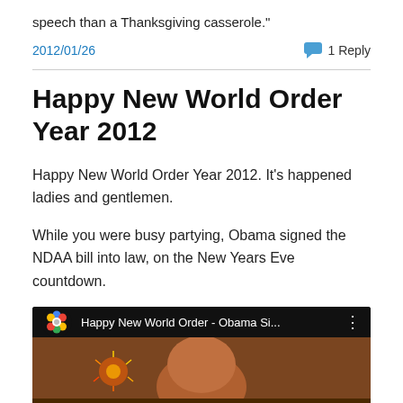speech than a Thanksgiving casserole."
2012/01/26   1 Reply
Happy New World Order Year 2012
Happy New World Order Year 2012. It's happened ladies and gentlemen.
While you were busy partying, Obama signed the NDAA bill into law, on the New Years Eve countdown.
[Figure (screenshot): YouTube video thumbnail showing 'Happy New World Order - Obama Si...' with a colorful flower/pinwheel logo, fireworks overlay, and a person's face in the video preview.]